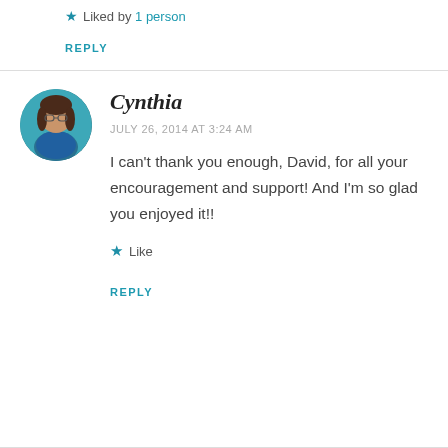★ Liked by 1 person
REPLY
Cynthia
JULY 26, 2014 AT 3:24 AM
I can't thank you enough, David, for all your encouragement and support! And I'm so glad you enjoyed it!!
★ Like
REPLY